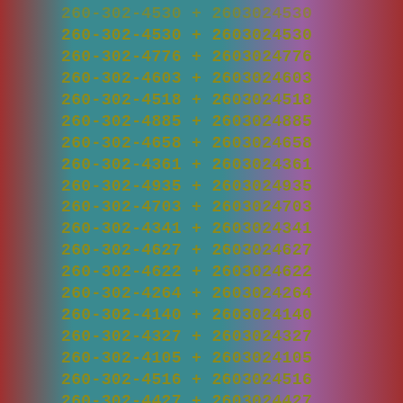260-302-4530 + 2603024530
260-302-4776 + 2603024776
260-302-4603 + 2603024603
260-302-4518 + 2603024518
260-302-4885 + 2603024885
260-302-4658 + 2603024658
260-302-4361 + 2603024361
260-302-4935 + 2603024935
260-302-4703 + 2603024703
260-302-4341 + 2603024341
260-302-4627 + 2603024627
260-302-4622 + 2603024622
260-302-4264 + 2603024264
260-302-4140 + 2603024140
260-302-4327 + 2603024327
260-302-4105 + 2603024105
260-302-4516 + 2603024516
260-302-4427 + 2603024427
260-302-4749 + 2603024749
260-302-4882 + 2603024882
260-302-4732 + 2603024732
260-302-4195 + 2603024195